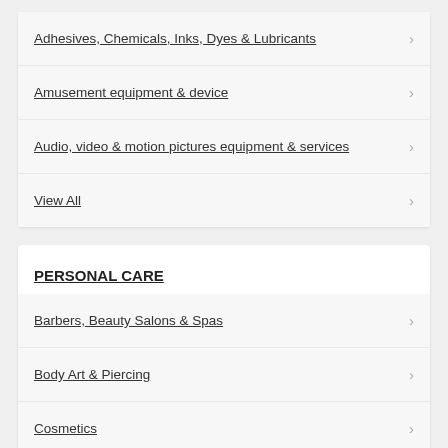Adhesives, Chemicals, Inks, Dyes & Lubricants
Amusement equipment & device
Audio, video & motion pictures equipment & services
View All
PERSONAL CARE
Barbers, Beauty Salons & Spas
Body Art & Piercing
Cosmetics